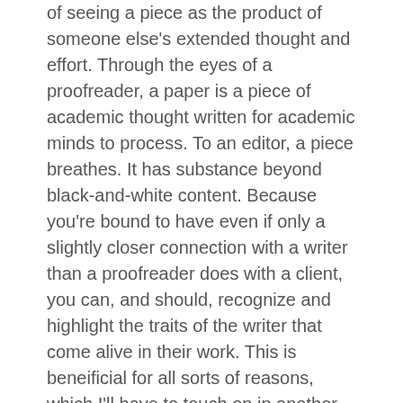of seeing a piece as the product of someone else's extended thought and effort. Through the eyes of a proofreader, a paper is a piece of academic thought written for academic minds to process. To an editor, a piece breathes. It has substance beyond black-and-white content. Because you're bound to have even if only a slightly closer connection with a writer than a proofreader does with a client, you can, and should, recognize and highlight the traits of the writer that come alive in their work. This is beneificial for all sorts of reasons, which I'll have to touch on in another post because I'm nearing PTL (post too long) status here. Sorry.
I'm promising here an upcoming post on how editing others' work improves our own ability to write and critique ourselves. In the meantime, if you see an opportunity to